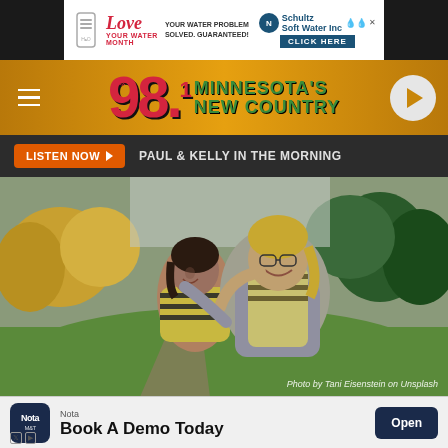[Figure (other): Advertisement banner: Love Your Water Month - Schultz Soft Water Inc, YOUR WATER PROBLEM SOLVED. GUARANTEED! CLICK HERE]
[Figure (logo): 98.1 Minnesota's New Country radio station header bar with hamburger menu and play button]
LISTEN NOW  PAUL & KELLY IN THE MORNING
[Figure (photo): Two people hugging and smiling outdoors in a grassy field with autumn trees in background. Photo by Tani Eisenstein on Unsplash]
Photo by Tani Eisenstein on Unsplash
[Figure (other): Nota by M&T Bank advertisement: Book A Demo Today - Open button]